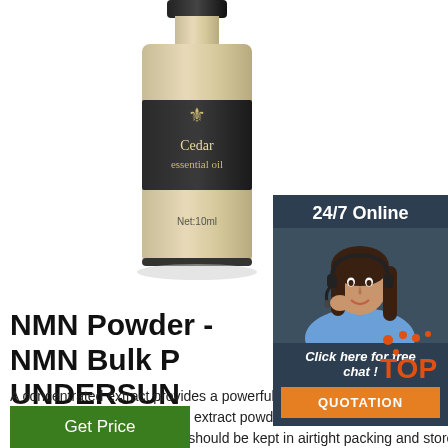[Figure (photo): Cedar essential oil bottle (Net:10ml) with black and gold label, fleur-de-lis logo]
[Figure (photo): 24/7 Online chat widget with woman customer service agent wearing headset, 'Click here for free chat!' text, and orange QUOTATION button]
NMN Powder - NMN Bulk Powder - UNDERSUN
A concentrated extract provides a powerful way to dose of NMN's nutrients in each dose. We offer a 10:1 concentrated extract powder which is ten times more powerful than the raw material. NMN Pure Powder should be kept in airtight packing and stored in a dry, dark and cool place.
[Figure (logo): TOP badge with orange dots]
Get Price